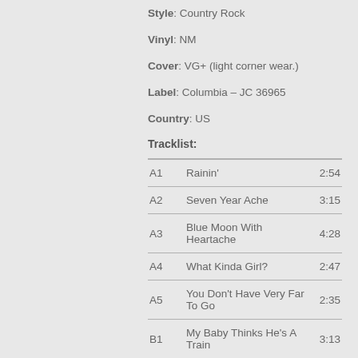Style: Country Rock
Vinyl: NM
Cover: VG+ (light corner wear.)
Label: Columbia – JC 36965
Country: US
Tracklist:
| Pos | Title | Duration |
| --- | --- | --- |
| A1 | Rainin' | 2:54 |
| A2 | Seven Year Ache | 3:15 |
| A3 | Blue Moon With Heartache | 4:28 |
| A4 | What Kinda Girl? | 2:47 |
| A5 | You Don't Have Very Far To Go | 2:35 |
| B1 | My Baby Thinks He's A Train | 3:13 |